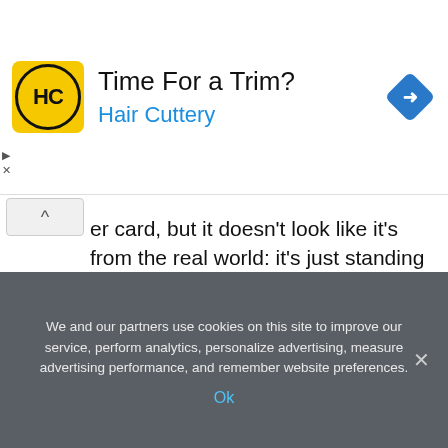[Figure (advertisement): Hair Cuttery advertisement banner with logo, title 'Time For a Trim?', subtitle 'Hair Cuttery', and a blue navigation arrow icon]
er card, but it doesn't look like it's from the real world: it's just standing in an illustration, much like the ones you see on your map in Pokemon Go. Imagine if this had been in front of an IRL landmark, or a made-up landmark illustrated in a realistic style? Where's the fun of Charizard swooping through the skies of my city? Where's the whimsy of Snorlax sleeping on my porch?
We and our partners use cookies on this site to improve our service, perform analytics, personalize advertising, measure advertising performance, and remember website preferences.
Ok